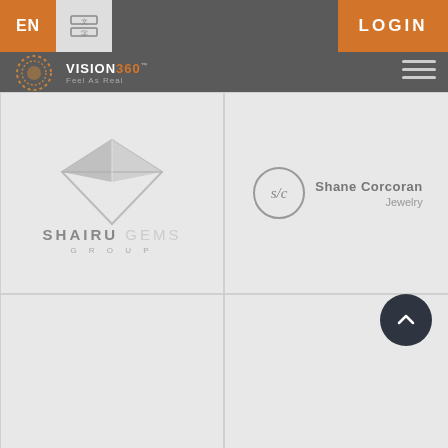EN | [ZH] | VISION 360 Feel As Real | LOGIN
[Figure (logo): Shairu Gems Group logo with diamond shape graphic and text 'SHAIRU GEMS GROUP']
[Figure (logo): Shane Corcoran Jewelry logo with circular monogram and text 'Shane Corcoran Jewelry']
[Figure (logo): Shree Ramdoot Gems LLP logo - text only]
[Figure (logo): Shanghai Asteria Trading Ltd. logo - italic text]